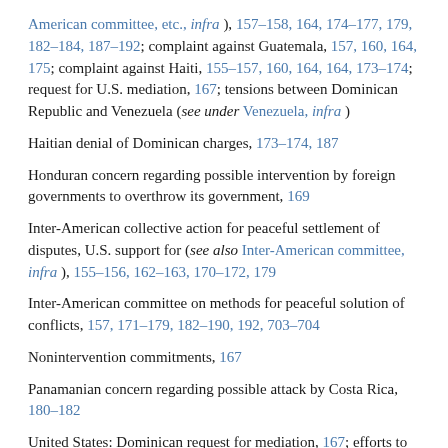American committee, etc., infra ), 157–158, 164, 174–177, 179, 182–184, 187–192; complaint against Guatemala, 157, 160, 164, 175; complaint against Haiti, 155–157, 160, 164, 164, 173–174; request for U.S. mediation, 167; tensions between Dominican Republic and Venezuela (see under Venezuela, infra )
Haitian denial of Dominican charges, 173–174, 187
Honduran concern regarding possible intervention by foreign governments to overthrow its government, 169
Inter-American collective action for peaceful settlement of disputes, U.S. support for (see also Inter-American committee, infra ), 155–156, 162–163, 170–172, 179
Inter-American committee on methods for peaceful solution of conflicts, 157, 171–179, 182–190, 192, 703–704
Nonintervention commitments, 167
Panamanian concern regarding possible attack by Costa Rica, 180–182
United States: Dominican request for mediation, 167; efforts to obtain public statements denying support for revolutionary acts